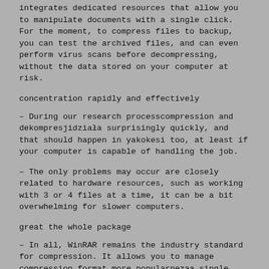integrates dedicated resources that allow you to manipulate documents with a single click. For the moment, to compress files to backup, you can test the archived files, and can even perform virus scans before decompressing, without the data stored on your computer at risk.
concentration rapidly and effectively
– During our research processcompression and dekompresjidziała surprisingly quickly, and that should happen in yakokesi too, at least if your computer is capable of handling the job.
– The only problems may occur are closely related to hardware resources, such as working with 3 or 4 files at a time, it can be a bit overwhelming for slower computers.
great the whole package
– In all, WinRAR remains the industry standard for compression. It allows you to manage compression format more popularnezaa single interface and at very high speeds provided by the complex